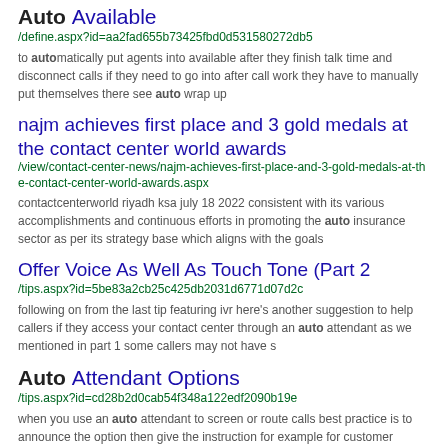Auto Available
/define.aspx?id=aa2fad655b73425fbd0d531580272db5
to automatically put agents into available after they finish talk time and disconnect calls if they need to go into after call work they have to manually put themselves there see auto wrap up
najm achieves first place and 3 gold medals at the contact center world awards
/view/contact-center-news/najm-achieves-first-place-and-3-gold-medals-at-the-contact-center-world-awards.aspx
contactcenterworld riyadh ksa july 18 2022 consistent with its various accomplishments and continuous efforts in promoting the auto insurance sector as per its strategy base which aligns with the goals
Offer Voice As Well As Touch Tone (Part 2
/tips.aspx?id=5be83a2cb25c425db2031d6771d07d2c
following on from the last tip featuring ivr here's another suggestion to help callers if they access your contact center through an auto attendant as we mentioned in part 1 some callers may not have s
Auto Attendant Options
/tips.aspx?id=cd28b2d0cab54f348a122edf2090b19e
when you use an auto attendant to screen or route calls best practice is to announce the option then give the instruction for example for customer services press 1 ' if you have your announcements the